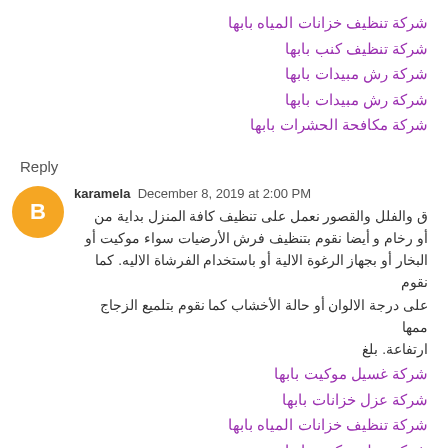شركة تنظيف خزانات المياه بابها
شركة تنظيف كنب بابها
شركة رش مبيدات بابها
شركة رش مبيدات بابها
شركة مكافحة الحشرات بابها
Reply
karamela  December 8, 2019 at 2:00 PM
ق والفلل والقصور نعمل على تنظيف كافة المنزل بداية من أو رخام و أيضا نقوم بتنظيف فرش الأرضيات سواء موكيت أو البخار أو بجهاز الرغوة الالية أو باستخدام الفرشاة الاليه. كما نقوم على درجة الالوان أو حالة الأخشاب كما نقوم بتلميع الزجاج ممها بلغ ارتفاعة.
شركة غسيل موكيت بابها
شركة عزل خزانات بابها
شركة تنظيف خزانات المياه بابها
شركة تنظيف كنب بابها
شركة رش مبيدات بابها
شركة رش مبيدات بابها
شركة مكافحة الحشرات بابها